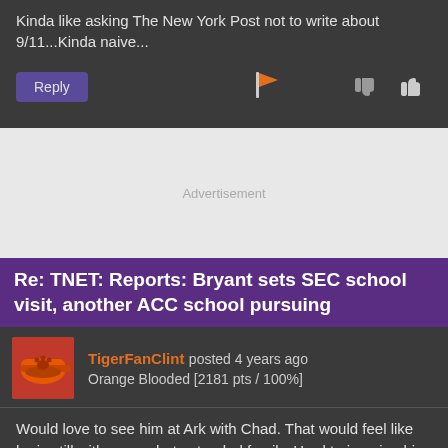Kinda like asking The New York Post not to write about 9/11...Kinda naive...
[Figure (screenshot): Action bar with Reply button, flag icon, thumbs down and thumbs up icons]
[Figure (screenshot): Advertisement placeholder box]
Re: TNET: Reports: Bryant sets SEC school visit, another ACC school pursuing
TigerFanClint posted 4 years ago
Orange Blooded [2181 pts / 100%]
Would love to see him at Ark with Chad. That would feel like he is still with somewhat extended family. Hard to imagino him wearing Tarhool blue.